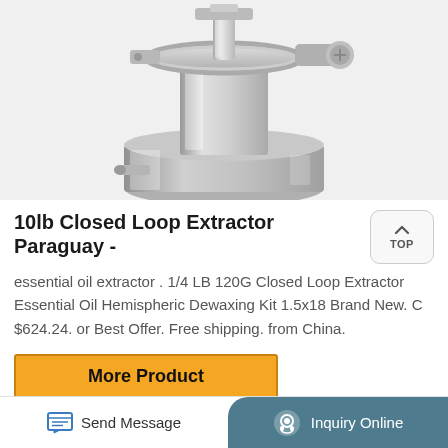[Figure (photo): Close-up photo of a stainless steel 10lb closed loop extractor showing the top fitting, clamp, and collection vessel]
10lb Closed Loop Extractor Paraguay -
essential oil extractor . 1/4 LB 120G Closed Loop Extractor Essential Oil Hemispheric Dewaxing Kit 1.5x18 Brand New. C $624.24. or Best Offer. Free shipping. from China.
More Product
Send Message | Inquiry Online